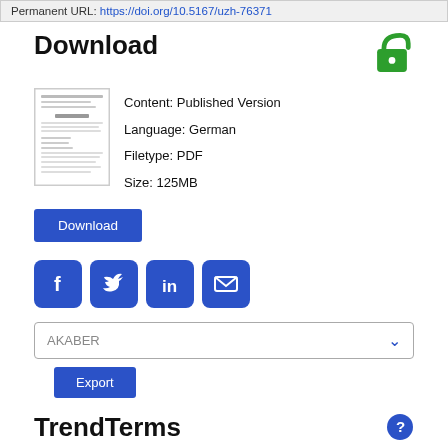Permanent URL: https://doi.org/10.5167/uzh-76371
Download
[Figure (screenshot): Thumbnail preview of a PDF document]
Content: Published Version
Language: German
Filetype: PDF
Size: 125MB
Download
[Figure (illustration): Social share icons: Facebook, Twitter, LinkedIn, Email]
AKABER (dropdown)
Export
TrendTerms